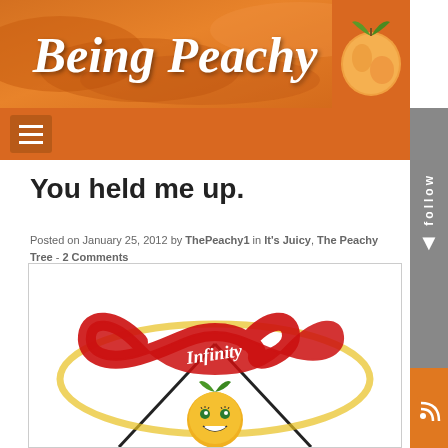[Figure (illustration): Being Peachy blog header banner with peach/orange background, oval decorative shapes, italic script title 'Being Peachy', and a peach fruit image on the right side]
[Figure (other): Hamburger menu icon (three horizontal lines) in a brown box on orange navigation bar]
You held me up.
Posted on January 25, 2012 by ThePeachy1 in It's Juicy, The Peachy Tree - 2 Comments
[Figure (illustration): Drawing of an infinity symbol in red with the word 'Infinity' written through it, above a smiling cartoon orange/peach emoji face with green leaf, on white background with diagonal black lines suggesting a book or paper shape]